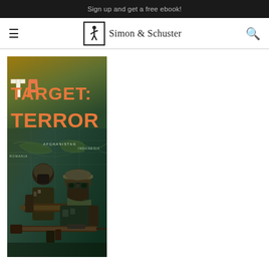Sign up and get a free ebook!
[Figure (logo): Simon & Schuster publisher logo with navigation bar including hamburger menu and search icon]
[Figure (illustration): Book cover for 'TARGET: TERROR' showing two soldiers/operatives with weapons against a world map background with orange stencil-style title text. Text on cover includes AFGHANISTAN, INDONESIA, ROMANIA.]